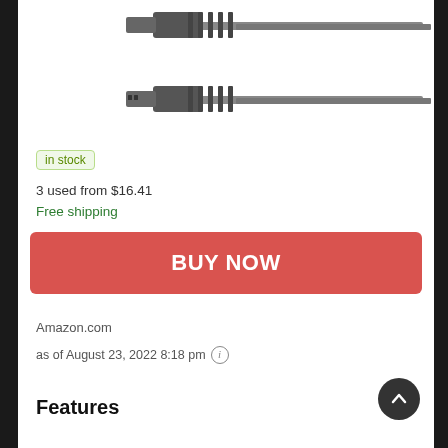[Figure (photo): Two HDMI cable connectors shown against white background, one above the other, both angled showing the connector tips and cable ends.]
in stock
3 used from $16.41
Free shipping
BUY NOW
Amazon.com
as of August 23, 2022 8:18 pm
Features